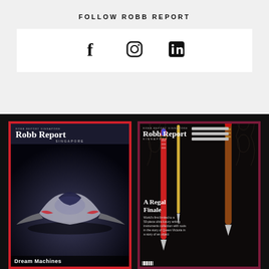FOLLOW ROBB REPORT
[Figure (infographic): Social media icons: Facebook (f), Instagram (camera), LinkedIn (in) displayed in a white bar]
[Figure (photo): Two Robb Report Singapore magazine covers side by side on black background. Left cover: red border, dark background with futuristic bike/machine, headline 'Dream Machines'. Right cover: maroon border, dark botanical background with ornate fountain pens, headline 'A Regal Finale'.]